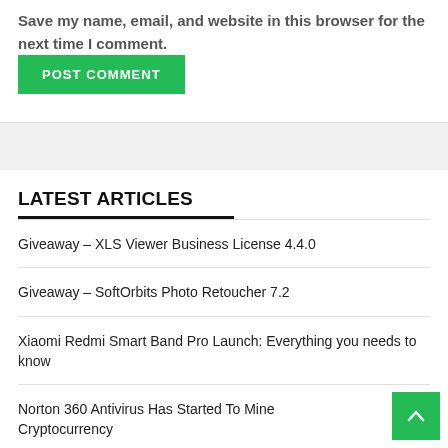Save my name, email, and website in this browser for the next time I comment.
POST COMMENT
LATEST ARTICLES
Giveaway – XLS Viewer Business License 4.4.0
Giveaway – SoftOrbits Photo Retoucher 7.2
Xiaomi Redmi Smart Band Pro Launch: Everything you needs to know
Norton 360 Antivirus Has Started To Mine Cryptocurrency